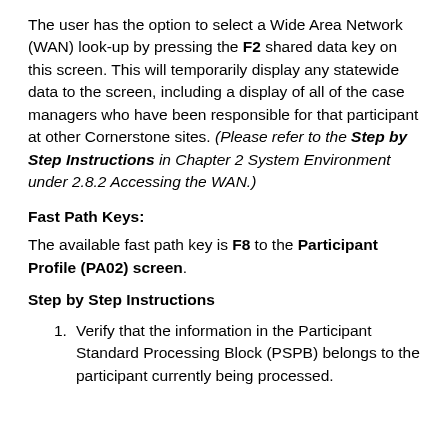The user has the option to select a Wide Area Network (WAN) look-up by pressing the F2 shared data key on this screen. This will temporarily display any statewide data to the screen, including a display of all of the case managers who have been responsible for that participant at other Cornerstone sites. (Please refer to the Step by Step Instructions in Chapter 2 System Environment under 2.8.2 Accessing the WAN.)
Fast Path Keys:
The available fast path key is F8 to the Participant Profile (PA02) screen.
Step by Step Instructions
Verify that the information in the Participant Standard Processing Block (PSPB) belongs to the participant currently being processed.